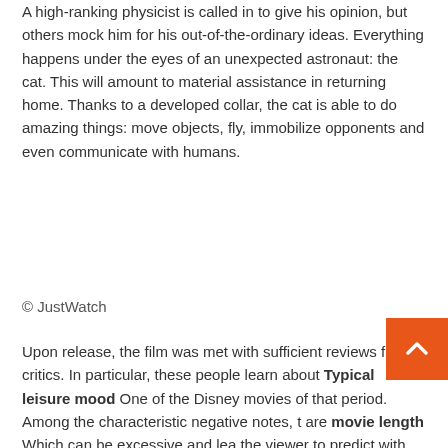A high-ranking physicist is called in to give his opinion, but others mock him for his out-of-the-ordinary ideas. Everything happens under the eyes of an unexpected astronaut: the cat. This will amount to material assistance in returning home. Thanks to a developed collar, the cat is able to do amazing things: move objects, fly, immobilize opponents and even communicate with humans.
© JustWatch
Upon release, the film was met with sufficient reviews from critics. In particular, these people learn about Typical leisure mood One of the Disney movies of that period. Among the characteristic negative notes, there are movie length Which can be excessive and lead the viewer to predict with some ease what will happen.